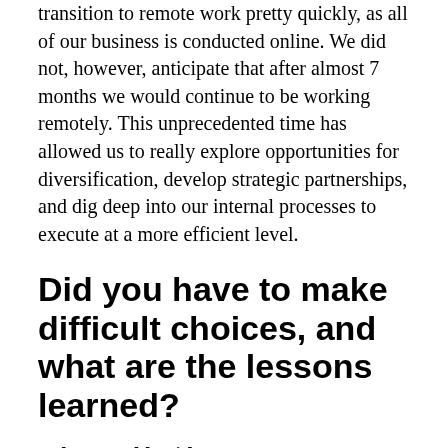transition to remote work pretty quickly, as all of our business is conducted online. We did not, however, anticipate that after almost 7 months we would continue to be working remotely. This unprecedented time has allowed us to really explore opportunities for diversification, develop strategic partnerships, and dig deep into our internal processes to execute at a more efficient level.
Did you have to make difficult choices, and what are the lessons learned?
Zakary Stahlsmith: The hardest decision was the choice to HODL, or Hold on for Dear Life. We decided we would push through the pandemic and stay on the course and attempt to grow rather than pull back. This was risky as the economy had no guaranteed budget for…